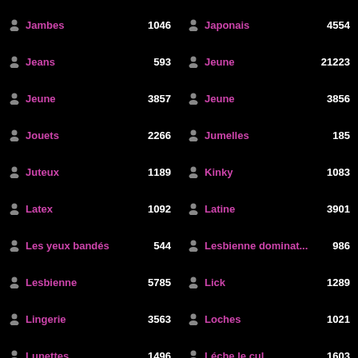Jambes 1046
Japonais 4554
Jeans 593
Jeune 21223
Jeune 3857
Jeune 3856
Jouets 2266
Jumelles 185
Juteux 1189
Kinky 1083
Latex 1092
Latine 3901
Les yeux bandés 544
Lesbienne dominat... 986
Lesbienne 5785
Lick 1289
Lingerie 3563
Loches 1021
Lunettes 1496
Léche le cul 1603
Léchage de boule 436
Machine à baiser 486